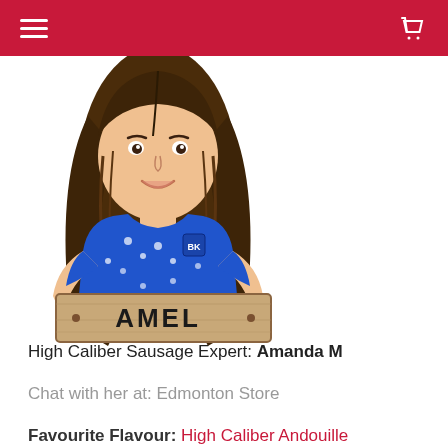[Figure (illustration): Cartoon illustration of a woman with long brown hair wearing a blue floral shirt, holding a wooden sign that reads 'AMEL' in black text.]
High Caliber Sausage Expert: Amanda M
Chat with her at: Edmonton Store
Favourite Flavour: High Caliber Andouille